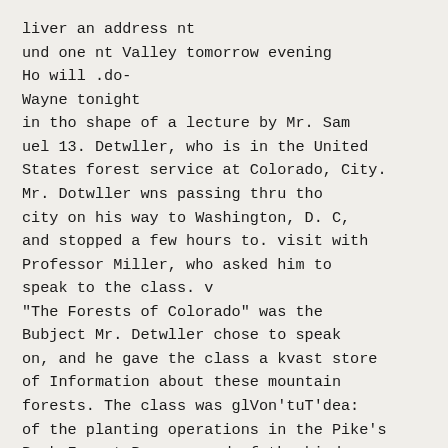liver an address nt
und one nt Valley tomorrow evening
Ho will .do-
Wayne tonight
in tho shape of a lecture by Mr. Sam
uel 13. Detwller, who is in the United
States forest service at Colorado, City.
Mr. Dotwller wns passing thru tho
city on his way to Washington, D. C,
and stopped a few hours to. visit with
Professor Miller, who asked him to
speak to the class. v
"The Forests of Colorado" was the
Bubject Mr. Detwller chose to speak
on, and he gave the class a kvast store
of Information about these mountain
forests. The class was glVon'tuT'dea:
of the planting operations in the Pike's
Peak Forest Reserve and of the kind